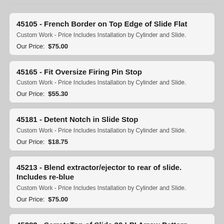45105 - French Border on Top Edge of Slide Flat
Custom Work - Price Includes Installation by Cylinder and Slide.
Our Price:  $75.00
45165 - Fit Oversize Firing Pin Stop
Custom Work - Price Includes Installation by Cylinder and Slide.
Our Price:  $55.30
45181 - Detent Notch in Slide Stop
Custom Work - Price Includes Installation by Cylinder and Slide.
Our Price:  $18.75
45213 - Blend extractor/ejector to rear of slide. Includes re-blue
Custom Work - Price Includes Installation by Cylinder and Slide.
Our Price:  $75.00
45282 - SerrateTop of Slide 30 LPI Arrow Pattern
Custom Work - Price Includes Installation by Cylinder and Slide.